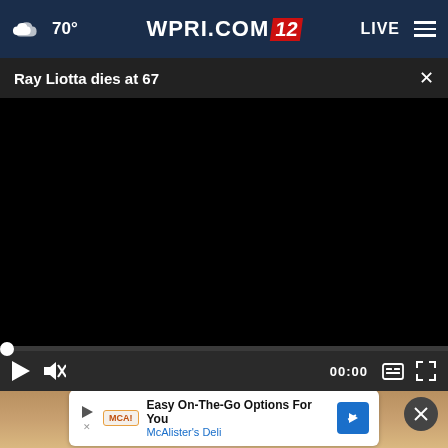70° WPRI.COM 12 LIVE
Ray Liotta dies at 67
[Figure (screenshot): Video player showing a black screen with playback controls: play button, mute button, time display 00:00, captions button, fullscreen button, and a scrubber bar with dot at position 0.]
[Figure (photo): Photo showing a hand and a countertop background, partially visible.]
Easy On-The-Go Options For You
McAlister's Deli